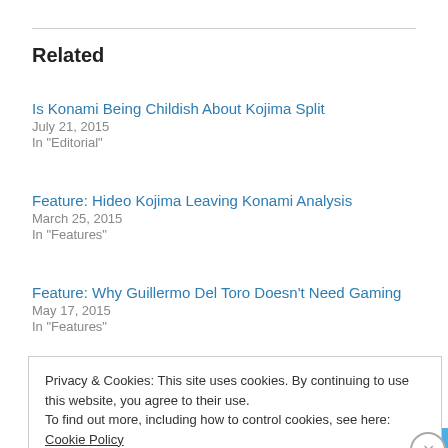Related
Is Konami Being Childish About Kojima Split
July 21, 2015
In "Editorial"
Feature: Hideo Kojima Leaving Konami Analysis
March 25, 2015
In "Features"
Feature: Why Guillermo Del Toro Doesn't Need Gaming
May 17, 2015
In "Features"
Privacy & Cookies: This site uses cookies. By continuing to use this website, you agree to their use.
To find out more, including how to control cookies, see here: Cookie Policy
Close and accept